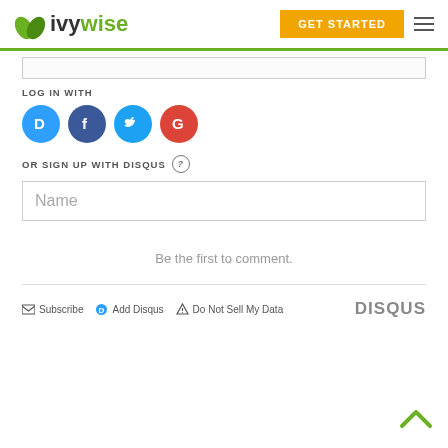IvyWise — GET STARTED
LOG IN WITH
[Figure (infographic): Four social login icons: Disqus (blue circle with D), Facebook (dark blue circle with f), Twitter (light blue circle with bird), Google (red circle with G)]
OR SIGN UP WITH DISQUS (?)
Name
Be the first to comment.
Subscribe  Add Disqus  Do Not Sell My Data   DISQUS